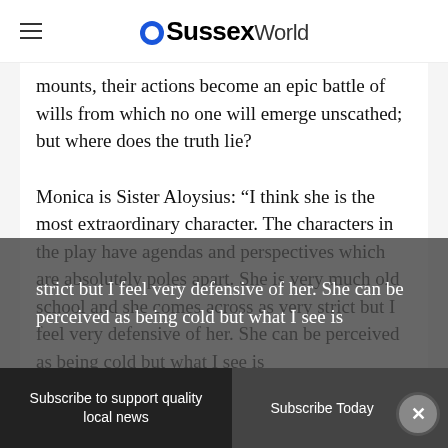OSussexWorld
mounts, their actions become an epic battle of wills from which no one will emerge unscathed; but where does the truth lie?
Monica is Sister Aloysius: “I think she is the most extraordinary character. The characters in the play have agendas and perspectives which are absolutely poles apart. She is very much old school and she comes across as very strict but I feel very defensive of her. She can be perceived as being cold but what I see is
Subscribe to support quality local news
Subscribe Today